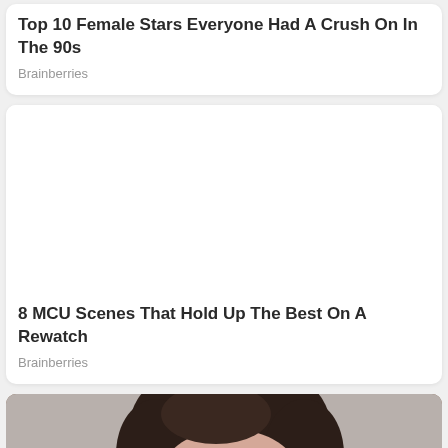Top 10 Female Stars Everyone Had A Crush On In The 90s
Brainberries
[Figure (other): Blank white image area for article card]
8 MCU Scenes That Hold Up The Best On A Rewatch
Brainberries
[Figure (photo): Partial photo of a woman with dark hair pulled up, light skin, on a grey background]